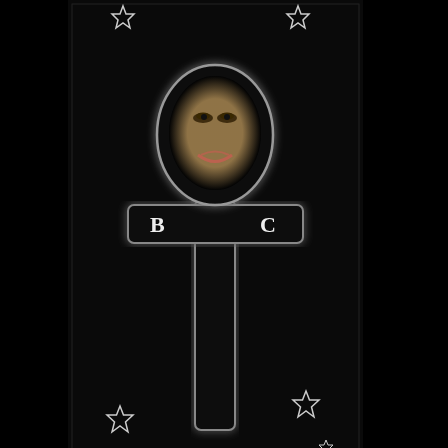[Figure (logo): Billy Caputo logo: a dark ankh cross symbol with a person's eyes and lips visible through the loop, letters B and C on either side of the crossbar, four decorative outlined stars at corners, and the text 'BILLY CAPUTO' in curved banner script at the bottom. Black background.]
[Figure (photo): A small broken/missing image icon with a white rectangle placeholder at the bottom left of the page.]